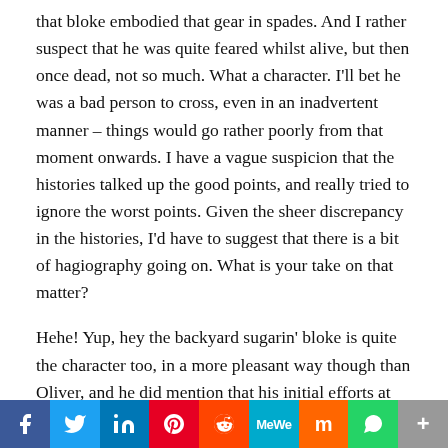that bloke embodied that gear in spades. And I rather suspect that he was quite feared whilst alive, but then once dead, not so much. What a character. I'll bet he was a bad person to cross, even in an inadvertent manner – things would go rather poorly from that moment onwards. I have a vague suspicion that the histories talked up the good points, and really tried to ignore the worst points. Given the sheer discrepancy in the histories, I'd have to suggest that there is a bit of hagiography going on. What is your take on that matter?
Hehe! Yup, hey the backyard sugarin' bloke is quite the character too, in a more pleasant way though than Oliver, and he did mention that his initial efforts at the boiling down process in his kitchen caused a minor chunk of matrimonial distress. Yes, a
[Figure (infographic): Social sharing bar with icons for Facebook, Twitter, LinkedIn, Pinterest, Reddit, MeWe, Mix, WhatsApp, and More]